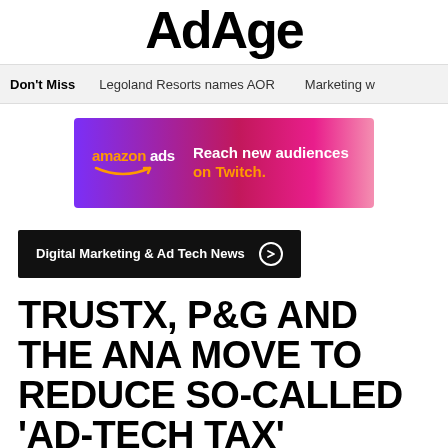AdAge
Don't Miss   Legoland Resorts names AOR   Marketing w
[Figure (illustration): Amazon Ads banner advertisement with purple-to-pink gradient background. Left side shows 'amazon ads' logo with smile arc. Right side shows text: 'Reach new audiences on Twitch.' with 'on Twitch.' in orange/yellow color.]
Digital Marketing & Ad Tech News →
TRUSTX, P&G AND THE ANA MOVE TO REDUCE SO-CALLED 'AD-TECH TAX'
As an olive branch, a trade body representing publishers such as Hearst, Meredith, give 12.5 percent more buying power to marketers